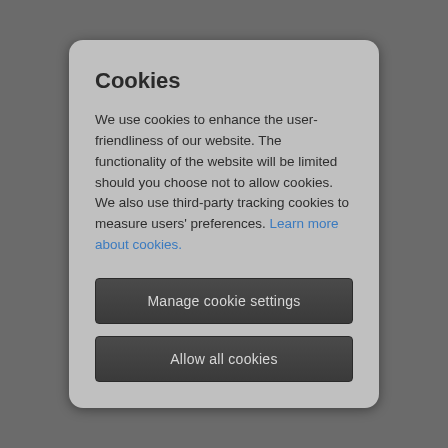Cookies
We use cookies to enhance the user-friendliness of our website. The functionality of the website will be limited should you choose not to allow cookies. We also use third-party tracking cookies to measure users' preferences. Learn more about cookies.
Manage cookie settings
Allow all cookies